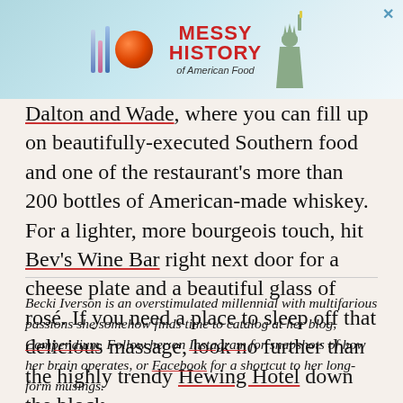[Figure (other): Advertisement banner for 'Messy History of American Food' with colorful bars logo, orange sphere, red bold text, and Statue of Liberty illustration on a light blue background]
Dalton and Wade, where you can fill up on beautifully-executed Southern food and one of the restaurant's more than 200 bottles of American-made whiskey. For a lighter, more bourgeois touch, hit Bev's Wine Bar right next door for a cheese plate and a beautiful glass of rosé. If you need a place to sleep off that delicious massage, look no further than the highly trendy Hewing Hotel down the block.
Becki Iverson is an overstimulated millennial with multifarious passions she somehow finds time to catalog at her blog, Compendium. Follow her on Instagram for snapshots of how her brain operates, or Facebook for a shortcut to her long-form musings.